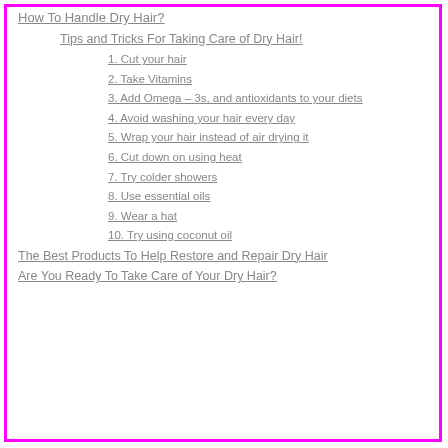How To Handle Dry Hair?
Tips and Tricks For Taking Care of Dry Hair!
1. Cut your hair
2. Take Vitamins
3. Add Omega – 3s, and antioxidants to your diets
4. Avoid washing your hair every day
5. Wrap your hair instead of air drying it
6. Cut down on using heat
7. Try colder showers
8. Use essential oils
9. Wear a hat
10. Try using coconut oil
The Best Products To Help Restore and Repair Dry Hair
Are You Ready To Take Care of Your Dry Hair?